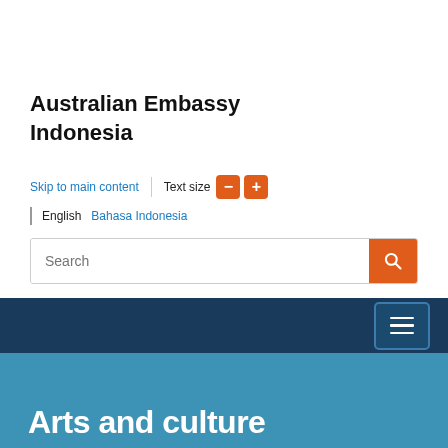Australian Embassy Indonesia
Skip to main content | Text size - +
English  Bahasa Indonesia
Search
Arts and culture